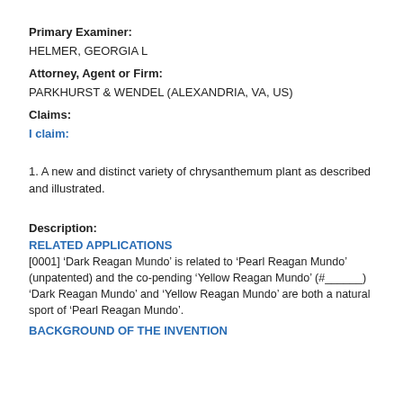Primary Examiner:
HELMER, GEORGIA L
Attorney, Agent or Firm:
PARKHURST & WENDEL (ALEXANDRIA, VA, US)
Claims:
I claim:
1. A new and distinct variety of chrysanthemum plant as described and illustrated.
Description:
RELATED APPLICATIONS
[0001] ‘Dark Reagan Mundo’ is related to ‘Pearl Reagan Mundo’ (unpatented) and the co-pending ‘Yellow Reagan Mundo’ (#______) ‘Dark Reagan Mundo’ and ‘Yellow Reagan Mundo’ are both a natural sport of ‘Pearl Reagan Mundo’.
BACKGROUND OF THE INVENTION